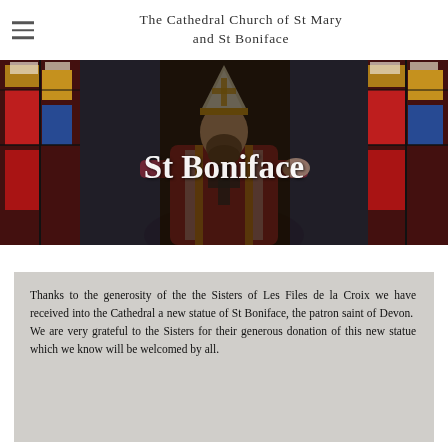The Cathedral Church of St Mary and St Boniface
[Figure (photo): Hero image showing a costumed figure of St Boniface dressed in bishop's robes and mitre, standing in front of colourful stained glass windows with red, blue, gold and white panels. The text 'St Boniface' is overlaid in white bold serif font across the centre of the image.]
Thanks to the generosity of the the Sisters of Les Files de la Croix we have received into the Cathedral a new statue of St Boniface, the patron saint of Devon.  We are very grateful to the Sisters for their generous donation of this new statue which we know will be welcomed by all.